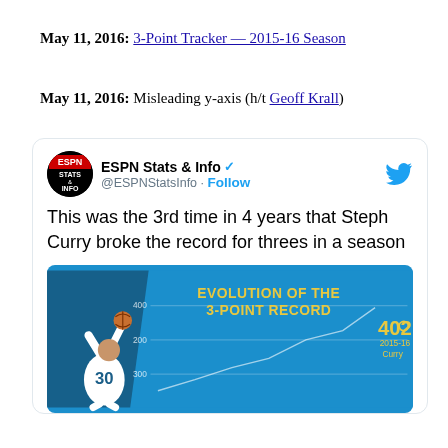May 11, 2016: 3-Point Tracker — 2015-16 Season
May 11, 2016: Misleading y-axis (h/t Geoff Krall)
[Figure (screenshot): Tweet from ESPN Stats & Info (@ESPNStatsInfo) with a Follow button and Twitter bird icon. Tweet text reads: 'This was the 3rd time in 4 years that Steph Curry broke the record for threes in a season'. Below the text is an embedded image with blue background showing 'EVOLUTION OF THE 3-POINT RECORD' with a player shooting a basketball (number 30) and a label showing 402, 2015-16, Curry with a chart and gridlines at 400, 200, 300.]